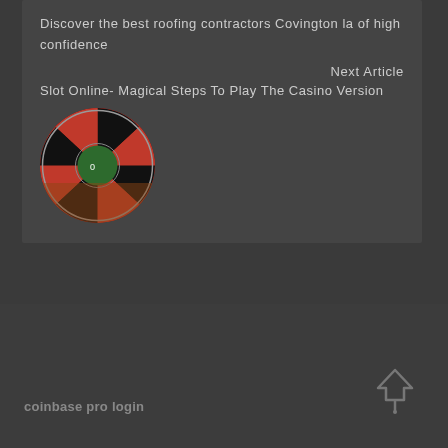Discover the best roofing contractors Covington la of high confidence
Next Article
Slot Online- Magical Steps To Play The Casino Version
[Figure (photo): Circular thumbnail image of a roulette wheel with red and black sections]
coinbase pro login